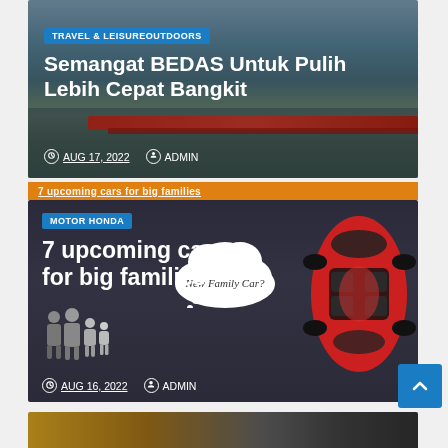[Figure (photo): Article card 1: outdoor/water scene with people on a long red boat on water, sky in background. Category badge 'TRAVEL & LEISUREOUTDOORS', title 'Semangat BEDAS Untuk Pulih Lebih Cepat Bangkit', date Aug 17 2022, author Admin]
TRAVEL & LEISUREOUTDOORS
Semangat BEDAS Untuk Pulih Lebih Cepat Bangkit
AUG 17, 2022   ADMIN
[Figure (photo): Article card 2: dark background with a red car viewed from above, a cloud thought bubble saying 'New Family Car?', and family silhouette at bottom left. Category badge 'MOTOR HONDA', title '7 upcoming cars for big families', date Aug 16, 2022, author Admin]
MOTOR HONDA
7 upcoming cars for big families
AUG 16, 2022   ADMIN
[Figure (photo): Partial third article card visible at bottom, shows a blurred outdoor/street scene in warm tones]